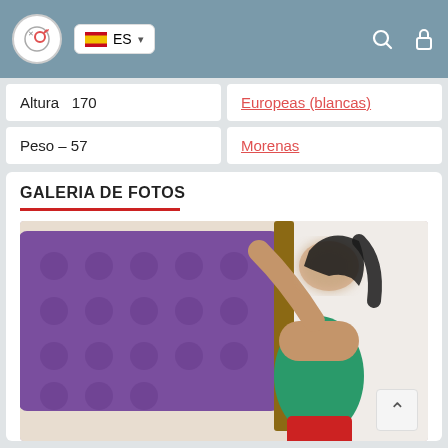ES (language selector) | Search | Lock icons
Altura  170
Europeas (blancas)
Peso – 57
Morenas
GALERIA DE FOTOS
[Figure (photo): Woman in green crop top and red pants leaning against a purple tufted headboard, face blurred]